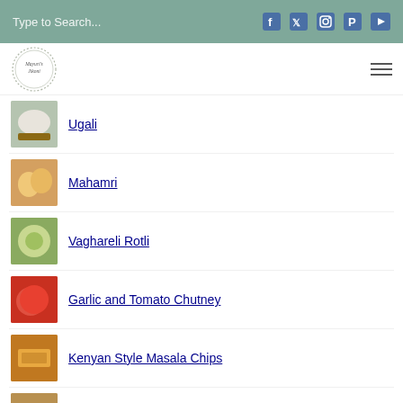Type to Search...
[Figure (logo): Mayuri's Jikoni circular logo with decorative border]
Ugali
Mahamri
Vaghareli Rotli
Garlic and Tomato Chutney
Kenyan Style Masala Chips
Vegetarian Pav Pao & Sweetened S...